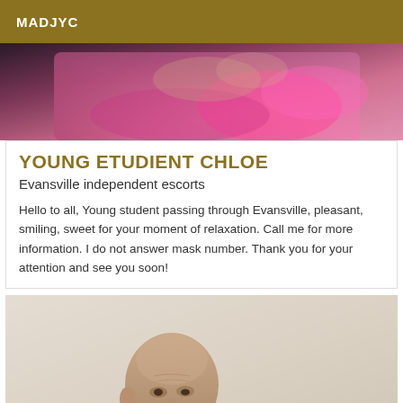MADJYC
[Figure (photo): Top cropped photo showing a person lying down wearing pink/magenta clothing]
YOUNG ETUDIENT CHLOE
Evansville independent escorts
Hello to all, Young student passing through Evansville, pleasant, smiling, sweet for your moment of relaxation. Call me for more information. I do not answer mask number. Thank you for your attention and see you soon!
[Figure (photo): Photo of a bald middle-aged man looking to the side, shirtless, with watermark text on the right side]